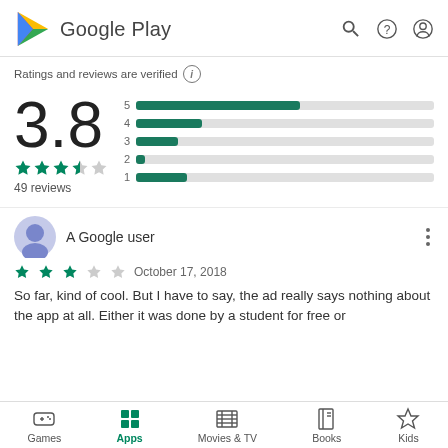Google Play
Ratings and reviews are verified
[Figure (bar-chart): Rating distribution]
3.8
49 reviews
A Google user
October 17, 2018
So far, kind of cool. But I have to say, the ad really says nothing about the app at all. Either it was done by a student for free or
Games  Apps  Movies & TV  Books  Kids